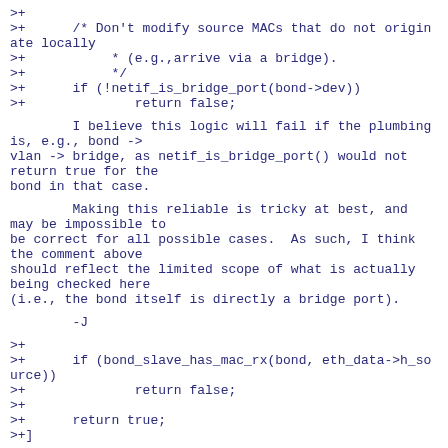>+
>+      /* Don't modify source MACs that do not originate locally
>+           * (e.g.,arrive via a bridge).
>+           */
>+      if (!netif_is_bridge_port(bond->dev))
>+              return false;
I believe this logic will fail if the plumbing is, e.g., bond ->
vlan -> bridge, as netif_is_bridge_port() would not return true for the
bond in that case.
Making this reliable is tricky at best, and may be impossible to
be correct for all possible cases.  As such, I think the comment above
should reflect the limited scope of what is actually being checked here
(i.e., the bond itself is directly a bridge port).
-J
>+
>+      if (bond_slave_has_mac_rx(bond, eth_data-
>h_source))
>+              return false;
>+
>+      return true;
>+]